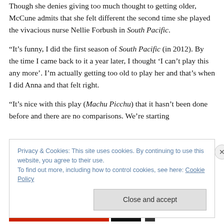Though she denies giving too much thought to getting older, McCune admits that she felt different the second time she played the vivacious nurse Nellie Forbush in South Pacific.
“It’s funny, I did the first season of South Pacific (in 2012). By the time I came back to it a year later, I thought ‘I can’t play this any more’. I’m actually getting too old to play her and that’s when I did Anna and that felt right.
“It’s nice with this play (Machu Picchu) that it hasn’t been done before and there are no comparisons. We’re starting
Privacy & Cookies: This site uses cookies. By continuing to use this website, you agree to their use.
To find out more, including how to control cookies, see here: Cookie Policy
Close and accept